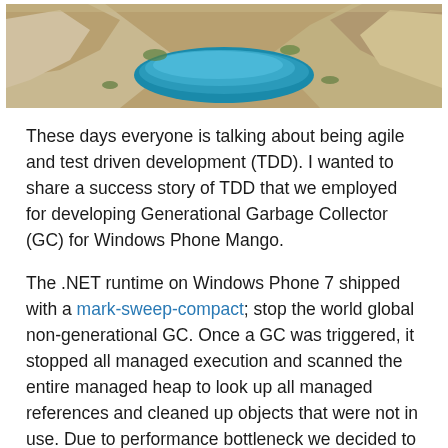[Figure (photo): Aerial or elevated view of a rocky canyon or quarry with bright blue water at the bottom, surrounded by brown and grey rocky terrain with some sparse green vegetation.]
These days everyone is talking about being agile and test driven development (TDD). I wanted to share a success story of TDD that we employed for developing Generational Garbage Collector (GC) for Windows Phone Mango.
The .NET runtime on Windows Phone 7 shipped with a mark-sweep-compact; stop the world global non-generational GC. Once a GC was triggered, it stopped all managed execution and scanned the entire managed heap to look up all managed references and cleaned up objects that were not in use. Due to performance bottleneck we decided to enhance the GC by adding a generational GC (referred to as GenGC). However, post the General Availability or GA of WP7 we had a very short coding window. Replacing such a fundamental piece of the runtime in that short window was very risky. So we decided to build various kinds of stress infrastructure first, and then develop the GC. So essentially